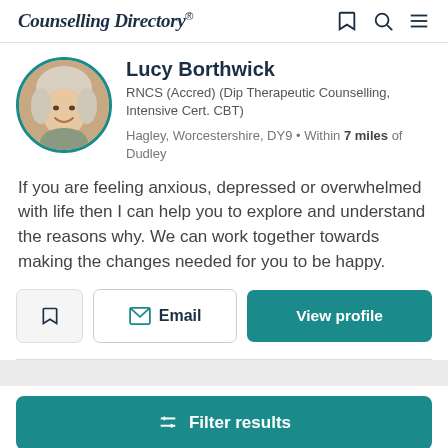Counselling Directory
Lucy Borthwick
RNCS (Accred) (Dip Therapeutic Counselling, Intensive Cert. CBT)
Hagley, Worcestershire, DY9 • Within 7 miles of Dudley
If you are feeling anxious, depressed or overwhelmed with life then I can help you to explore and understand the reasons why. We can work together towards making the changes needed for you to be happy.
Email
View profile
Filter results